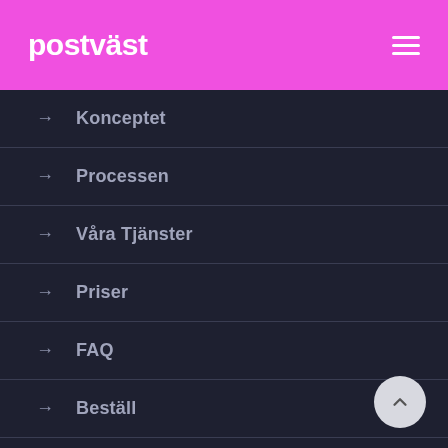postväst
→ Konceptet
→ Processen
→ Våra Tjänster
→ Priser
→ FAQ
→ Beställ